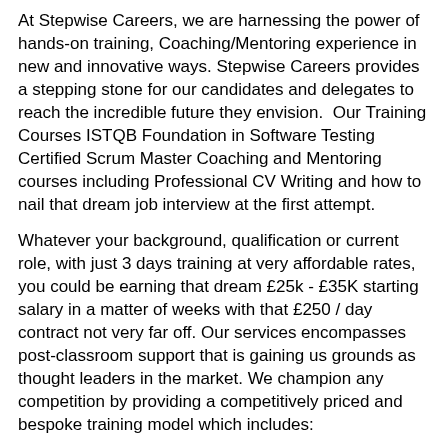At Stepwise Careers, we are harnessing the power of hands-on training, Coaching/Mentoring experience in new and innovative ways. Stepwise Careers provides a stepping stone for our candidates and delegates to reach the incredible future they envision.  Our Training Courses ISTQB Foundation in Software Testing Certified Scrum Master Coaching and Mentoring courses including Professional CV Writing and how to nail that dream job interview at the first attempt.
Whatever your background, qualification or current role, with just 3 days training at very affordable rates, you could be earning that dream £25k - £35K starting salary in a matter of weeks with that £250 / day contract not very far off. Our services encompasses post-classroom support that is gaining us grounds as thought leaders in the market. We champion any competition by providing a competitively priced and bespoke training model which includes:
☑ Online training to mitigate the impact on work and home life.
☑ Review and update of your current CV to ensure it is of professional standards.